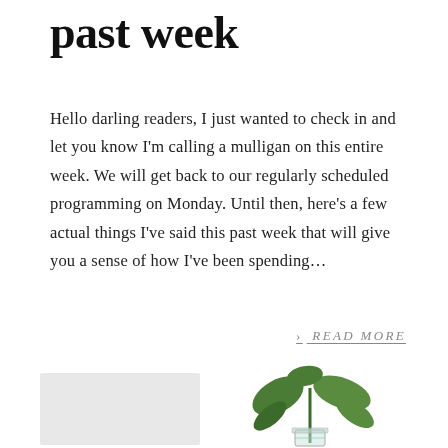past week
Hello darling readers, I just wanted to check in and let you know I'm calling a mulligan on this entire week. We will get back to our regularly scheduled programming on Monday. Until then, here's a few actual things I've said this past week that will give you a sense of how I've been spending…
> READ MORE
[Figure (photo): A small green plant sprig (mint or similar herb) in a clear glass jar, photographed against a white background. A light gray rectangle appears in the lower left corner of the image area.]